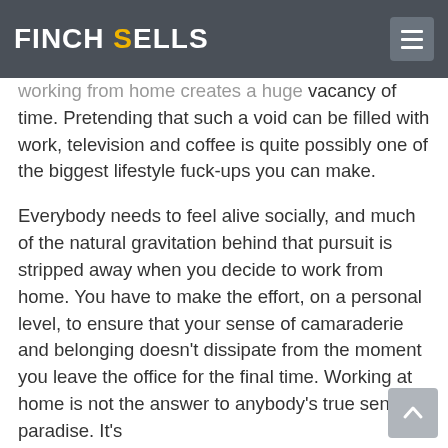Finch Sells
working from home creates a huge vacancy of time. Pretending that such a void can be filled with work, television and coffee is quite possibly one of the biggest lifestyle fuck-ups you can make.
Everybody needs to feel alive socially, and much of the natural gravitation behind that pursuit is stripped away when you decide to work from home. You have to make the effort, on a personal level, to ensure that your sense of camaraderie and belonging doesn't dissipate from the moment you leave the office for the final time. Working at home is not the answer to anybody's true sense of paradise. It's